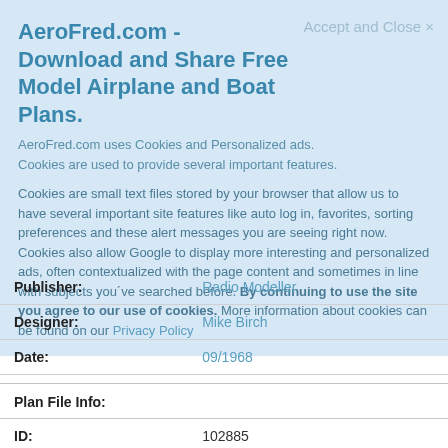AeroFred.com - Download and Share Free Model Airplane and Boat Plans.
Accept and Close ×
AeroFred.com uses Cookies and Personalized ads.
Cookies are used to provide several important features.
Cookies are small text files stored by your browser that allow us to have several important site features like auto log in, favorites, sorting preferences and these alert messages you are seeing right now. Cookies also allow Google to display more interesting and personalized ads, often contextualized with the page content and sometimes in line with subjects you've searched before. By continuing to use the site you agree to our use of cookies. More information about cookies can be found on our Privacy Policy
| Publisher: | Radio Modeller |
| Designer: | Mike Birch |
| Date: | 09/1968 |
| Plan File Info: |  |
| ID: | 102885 |